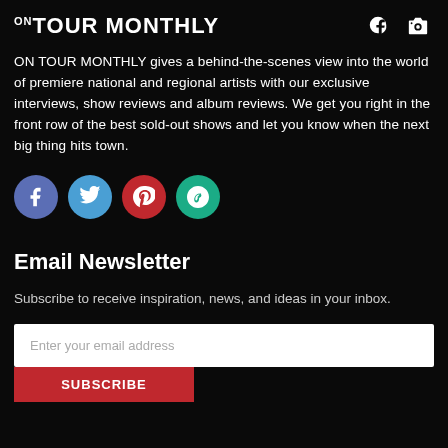ON TOUR MONTHLY
ON TOUR MONTHLY gives a behind-the-scenes view into the world of premiere national and regional artists with our exclusive interviews, show reviews and album reviews. We get you right in the front row of the best sold-out shows and let you know when the next big thing hits town.
[Figure (infographic): Social media icons: Facebook (blue-purple circle), Twitter (blue circle), Pinterest (red circle), Vine (green circle)]
Email Newsletter
Subscribe to receive inspiration, news, and ideas in your inbox.
Enter your email address
SUBSCRIBE